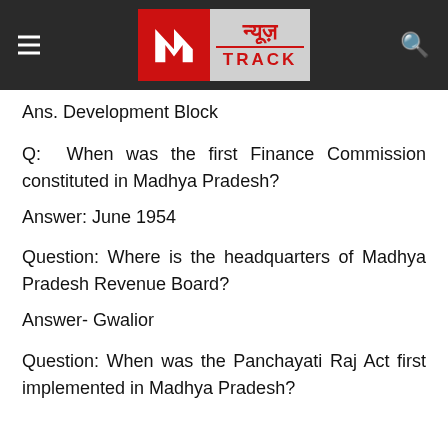[Figure (logo): News Track logo with red icon and Hindi/English branding on dark header bar]
Ans. Development Block
Q: When was the first Finance Commission constituted in Madhya Pradesh?
Answer: June 1954
Question: Where is the headquarters of Madhya Pradesh Revenue Board?
Answer- Gwalior
Question: When was the Panchayati Raj Act first implemented in Madhya Pradesh?